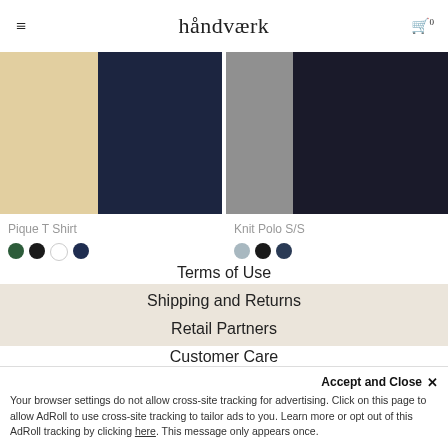håndværk
[Figure (photo): Product photo of Pique T Shirt - beige and navy color split background]
Pique T Shirt
[Figure (photo): Color swatches for Pique T Shirt: dark green, black, white, navy]
[Figure (photo): Product photo of Knit Polo S/S - gray and dark navy color split background]
Knit Polo S/S
[Figure (photo): Color swatches for Knit Polo S/S: light gray, black, navy]
Terms of Use
Shipping and Returns
Retail Partners
Customer Care
Accept and Close ✕
Your browser settings do not allow cross-site tracking for advertising. Click on this page to allow AdRoll to use cross-site tracking to tailor ads to you. Learn more or opt out of this AdRoll tracking by clicking here. This message only appears once.